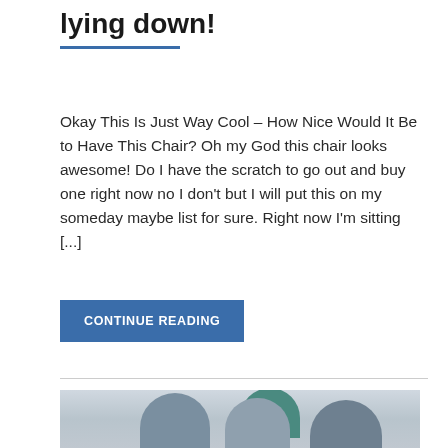lying down!
Okay This Is Just Way Cool – How Nice Would It Be to Have This Chair? Oh my God this chair looks awesome! Do I have the scratch to go out and buy one right now no I don't but I will put this on my someday maybe list for sure. Right now I'm sitting [...]
CONTINUE READING
[Figure (photo): Group of people gathered together, smiling and looking down at something, one person wearing glasses and a teal and plaid shirt leaning over two others]